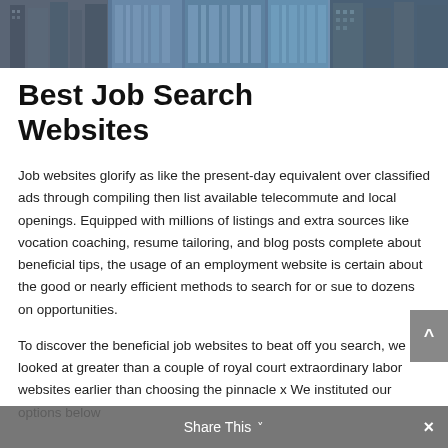[Figure (photo): Aerial or street-level photograph of tall glass office buildings / skyscrapers, partially cropped at top]
Best Job Search Websites
Job websites glorify as like the present-day equivalent over classified ads through compiling then list available telecommute and local openings. Equipped with millions of listings and extra sources like vocation coaching, resume tailoring, and blog posts complete about beneficial tips, the usage of an employment website is certain about the good or nearly efficient methods to search for or sue to dozens on opportunities.
To discover the beneficial job websites to beat off you search, we looked at greater than a couple of royal court extraordinary labor websites earlier than choosing the pinnacle x We instituted our options below
Share This